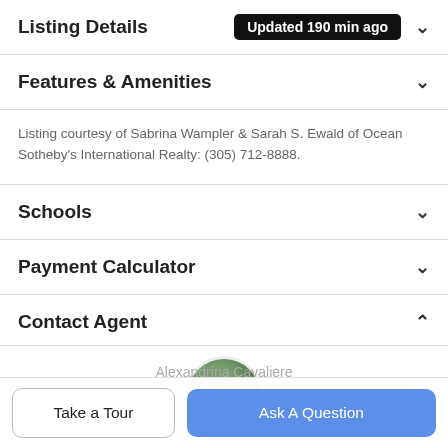Listing Details Updated 190 min ago
Features & Amenities
Listing courtesy of Sabrina Wampler & Sarah S. Ewald of Ocean Sotheby's International Realty: (305) 712-8888.
Schools
Payment Calculator
Contact Agent
[Figure (photo): Circular agent profile photo thumbnail]
Alexandrina Cavaliere
Take a Tour
Ask A Question